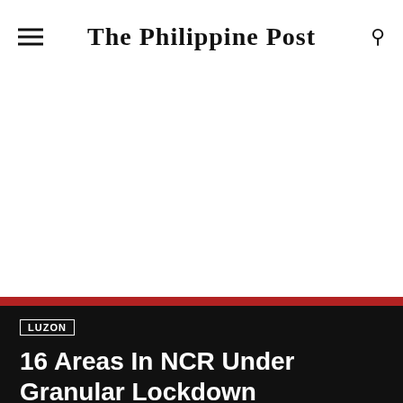The Philippine Post
LUZON
16 Areas In NCR Under Granular Lockdown